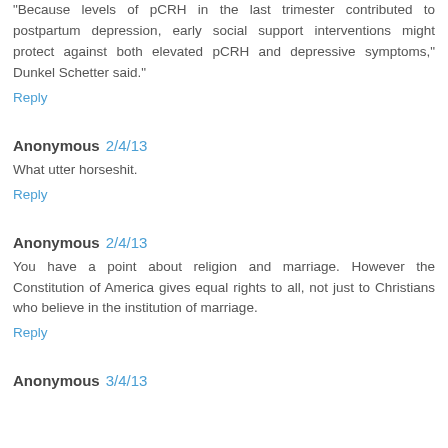"Because levels of pCRH in the last trimester contributed to postpartum depression, early social support interventions might protect against both elevated pCRH and depressive symptoms," Dunkel Schetter said."
Reply
Anonymous 2/4/13
What utter horseshit.
Reply
Anonymous 2/4/13
You have a point about religion and marriage. However the Constitution of America gives equal rights to all, not just to Christians who believe in the institution of marriage.
Reply
Anonymous 3/4/13